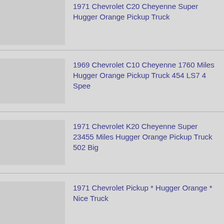1971 Chevrolet C20 Cheyenne Super Hugger Orange Pickup Truck
1969 Chevrolet C10 Cheyenne 1760 Miles Hugger Orange Pickup Truck 454 LS7 4 Spee
1971 Chevrolet K20 Cheyenne Super 23455 Miles Hugger Orange Pickup Truck 502 Big
1971 Chevrolet Pickup * Hugger Orange * Nice Truck